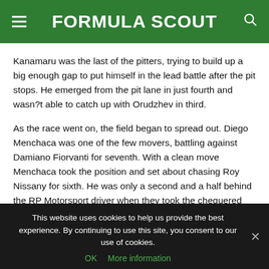FORMULA SCOUT
Kanamaru was the last of the pitters, trying to build up a big enough gap to put himself in the lead battle after the pit stops. He emerged from the pit lane in just fourth and wasn?t able to catch up with Orudzhev in third.
As the race went on, the field began to spread out. Diego Menchaca was one of the few movers, battling against Damiano Fiorvanti for seventh. With a clean move Menchaca took the position and set about chasing Roy Nissany for sixth. He was only a second and a half behind the RP Motorsport driver when they took the chequered flag.
This website uses cookies to help us provide the best experience. By continuing to use this site, you consent to our use of cookies. OK  More information